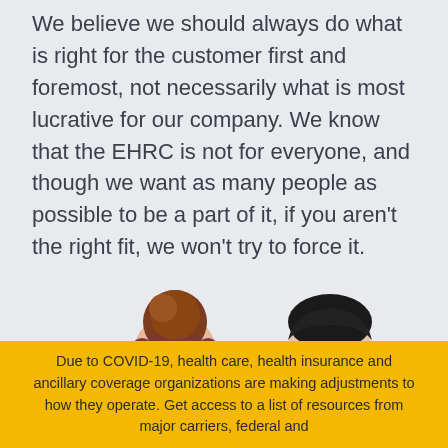We believe we should always do what is right for the customer first and foremost, not necessarily what is most lucrative for our company. We know that the EHRC is not for everyone, and though we want as many people as possible to be a part of it, if you aren't the right fit, we won't try to force it.
[Figure (illustration): Illustration of two people (a woman with brown hair in a bun on the left, and a man with dark hair on the right) looking down, partially cropped at the bottom of the image, against a light gray background.]
Due to COVID-19, health care, health insurance and ancillary coverage organizations are making adjustments to how they operate. Get access to a list of resources from major carriers, federal and